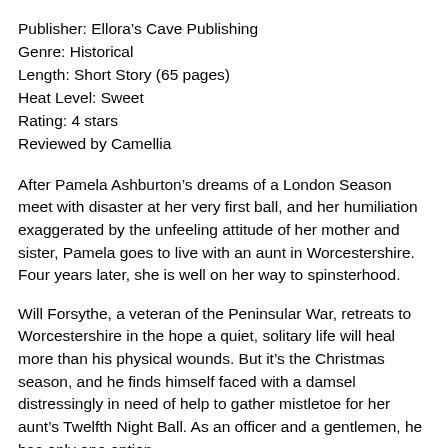Publisher: Ellora's Cave Publishing
Genre: Historical
Length: Short Story (65 pages)
Heat Level: Sweet
Rating: 4 stars
Reviewed by Camellia
After Pamela Ashburton's dreams of a London Season meet with disaster at her very first ball, and her humiliation exaggerated by the unfeeling attitude of her mother and sister, Pamela goes to live with an aunt in Worcestershire. Four years later, she is well on her way to spinsterhood.
Will Forsythe, a veteran of the Peninsular War, retreats to Worcestershire in the hope a quiet, solitary life will heal more than his physical wounds. But it's the Christmas season, and he finds himself faced with a damsel distressingly in need of help to gather mistletoe for her aunt's Twelfth Night Ball. As an officer and a gentlemen, he has only one option.